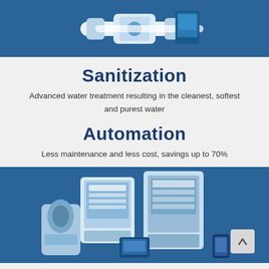[Figure (photo): Blue banner background with water treatment/sanitization product (white pipe fitting device) displayed on a blue background]
Sanitization
Advanced water treatment resulting in the cleanest, softest and purest water
Automation
Less maintenance and less cost, savings up to 70%
[Figure (photo): Blue banner showing automation products including control panels, digital displays, tablets and mobile devices for pool automation systems]